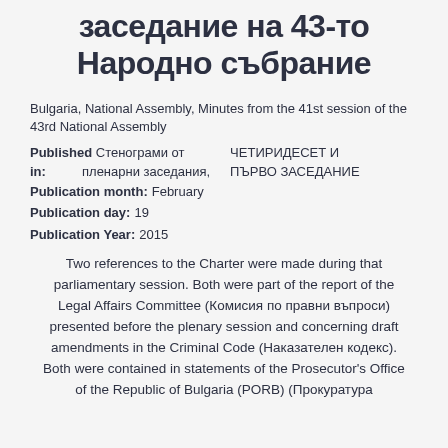заседание на 43-то Народно събрание
Bulgaria, National Assembly, Minutes from the 41st session of the 43rd National Assembly
Published in: Стенограми от пленарни заседания, ЧЕТИРИДЕСЕТ И ПЪРВО ЗАСЕДАНИЕ
Publication month: February
Publication day: 19
Publication Year: 2015
Two references to the Charter were made during that parliamentary session. Both were part of the report of the Legal Affairs Committee (Комисия по правни въпроси) presented before the plenary session and concerning draft amendments in the Criminal Code (Наказателен кодекс). Both were contained in statements of the Prosecutor's Office of the Republic of Bulgaria (PORB) (Прокуратура